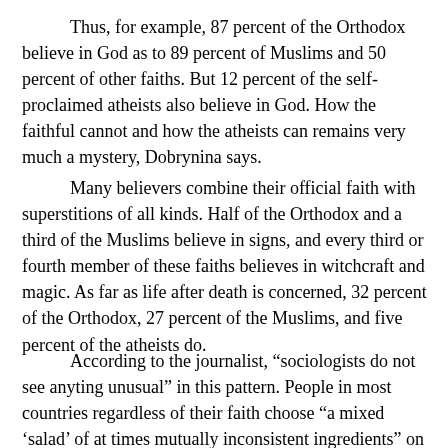Thus, for example, 87 percent of the Orthodox believe in God as to 89 percent of Muslims and 50 percent of other faiths. But 12 percent of the self-proclaimed atheists also believe in God. How the faithful cannot and how the atheists can remains very much a mystery, Dobrynina says.
Many believers combine their official faith with superstitions of all kinds. Half of the Orthodox and a third of the Muslims believe in signs, and every third or fourth member of these faiths believes in witchcraft and magic. As far as life after death is concerned, 32 percent of the Orthodox, 27 percent of the Muslims, and five percent of the atheists do.
According to the journalist, “sociologists do not see anyting unusual” in this pattern. People in most countries regardless of their faith choose “a mixed ‘salad’ of at times mutually inconsistent ingredients” on the basis of their national